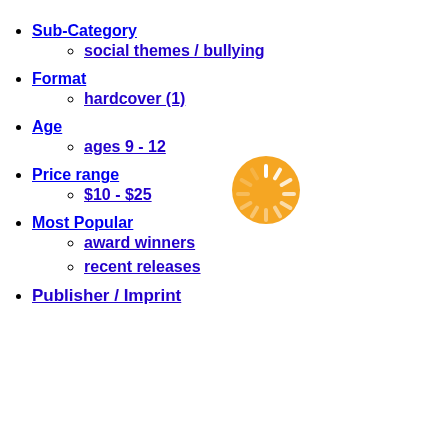Sub-Category
social themes / bullying
Format
hardcover (1)
Age
ages 9 - 12
Price range
[Figure (infographic): Yellow loading spinner icon]
$10 - $25
Most Popular
award winners
recent releases
Publisher / Imprint